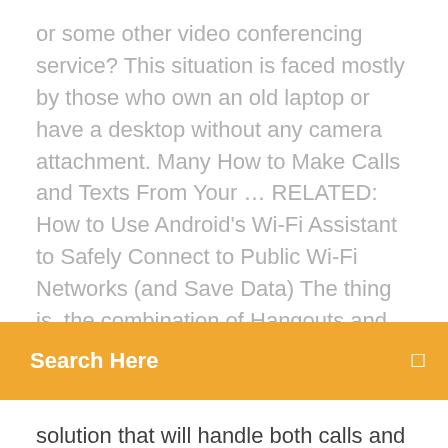or some other video conferencing service? This situation is faced mostly by those who own an old laptop or have a desktop without any camera attachment. Many How to Make Calls and Texts From Your … RELATED: How to Use Android's Wi-Fi Assistant to Safely Connect to Public Wi-Fi Networks (and Save Data) The thing is, the combination of Hangouts and Voice is
[Figure (screenshot): Orange search bar with white text 'Search Here' and a search icon on the right]
solution that will handle both calls and texts. All others just fall flat in this regard. But! There are How To Use Android Phone As Webcam For PC How To Use Android Phone As WebCam For PC ? Using IP Webcam app: Google made it easy to search, download and install apps via "Google Play store". Just search the IP web cam app in the Android store and install it on the phone. Or else download app Here>> And follow the below steps: Note: Make sure that both phone and PC have a good internet connection to use Android phone as webcam for PC